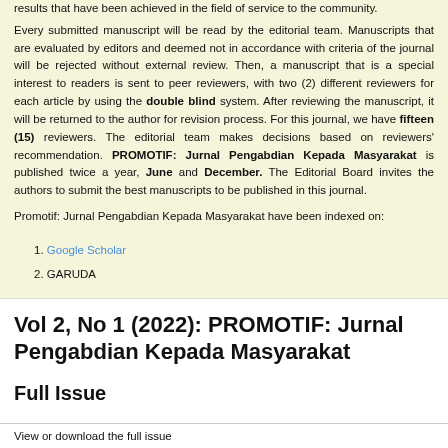results that have been achieved in the field of service to the community.
Every submitted manuscript will be read by the editorial team. Manuscripts that are evaluated by editors and deemed not in accordance with criteria of the journal will be rejected without external review. Then, a manuscript that is a special interest to readers is sent to peer reviewers, with two (2) different reviewers for each article by using the double blind system. After reviewing the manuscript, it will be returned to the author for revision process. For this journal, we have fifteen (15) reviewers. The editorial team makes decisions based on reviewers' recommendation. PROMOTIF: Jurnal Pengabdian Kepada Masyarakat is published twice a year, June and December. The Editorial Board invites the authors to submit the best manuscripts to be published in this journal.
Promotif: Jurnal Pengabdian Kepada Masyarakat have been indexed on:
1. Google Scholar
2. GARUDA
Vol 2, No 1 (2022): PROMOTIF: Jurnal Pengabdian Kepada Masyarakat
Full Issue
View or download the full issue